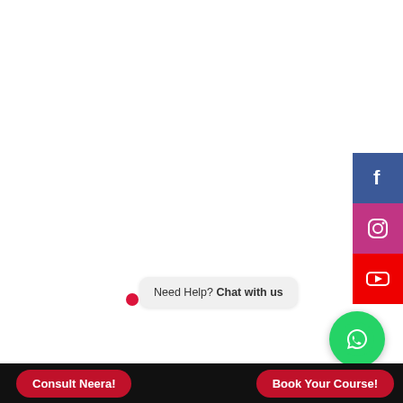[Figure (screenshot): Website screenshot showing social media sidebar icons (Facebook, Instagram, YouTube), a carousel dot navigation, a WhatsApp chat widget, and bottom action buttons.]
Need Help? Chat with us
Consult Neera!
Book Your Course!